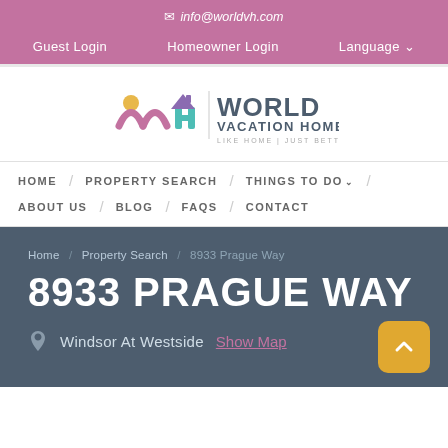info@worldvh.com
Guest Login / Homeowner Login / Language
[Figure (logo): World Vacation Homes logo with stylized WVH letters and tagline LIKE HOME | JUST BETTER]
HOME / PROPERTY SEARCH / THINGS TO DO / ABOUT US / BLOG / FAQS / CONTACT
Home / Property Search / 8933 Prague Way
8933 PRAGUE WAY
Windsor At Westside  Show Map